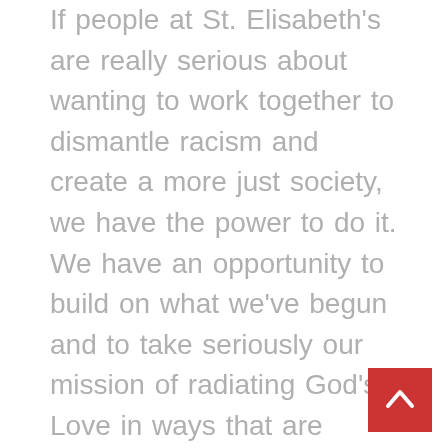If people at St. Elisabeth's are really serious about wanting to work together to dismantle racism and create a more just society, we have the power to do it. We have an opportunity to build on what we've begun and to take seriously our mission of radiating God's Love in ways that are transforming and continuing. But addressing the questions above has to be a long-term commitment – not a dip. Just as our LGBTQ Focus Group has been so diligent in keeping that ministry in the forefront, tackling racism and white privilege with take a committed group of people and strong leadership. It will mean listening, learning, loving each other as we struggle together. It will